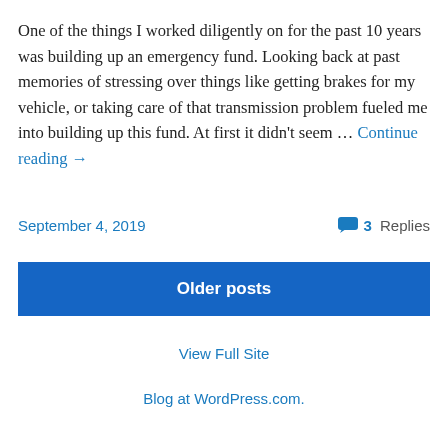One of the things I worked diligently on for the past 10 years was building up an emergency fund. Looking back at past memories of stressing over things like getting brakes for my vehicle, or taking care of that transmission problem fueled me into building up this fund. At first it didn't seem … Continue reading →
September 4, 2019
3 Replies
Older posts
View Full Site
Blog at WordPress.com.